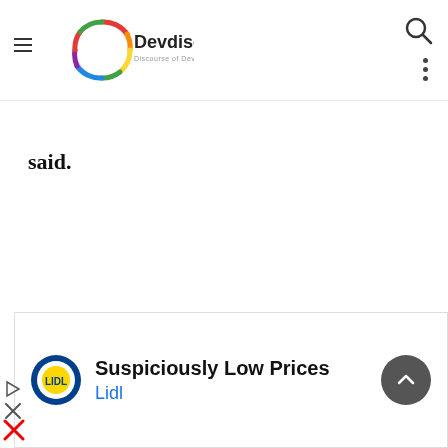[Figure (logo): Devdiscourse logo - colored circle with text 'Devdiscourse' and tagline 'Discourse of Development']
said.
[Figure (screenshot): Advertisement banner: Lidl logo with text 'Suspiciously Low Prices' and 'Lidl']